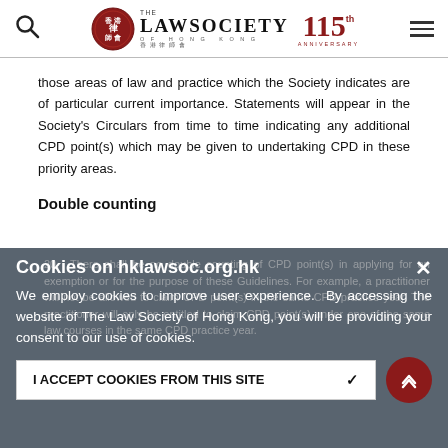The Law Society of Hong Kong — 115th Anniversary
those areas of law and practice which the Society indicates are of particular current importance. Statements will appear in the Society's Circulars from time to time indicating any additional CPD point(s) which may be given to undertaking CPD in these priority areas.
Double counting
20. There shall be no double counting of CPD point(s) in applying for an exemption or for the purpose of these Guidelines. For example, a practitioner will not be allowed to claim CPD point(s) in the same CPD practice year. The practitioner will only be entitled to claim CPD point(s) under one of the same law courses in the same CPD practice year.
Cookies on hklawsoc.org.hk
We employ cookies to improve user experience. By accessing the website of The Law Society of Hong Kong, you will be providing your consent to our use of cookies.
I ACCEPT COOKIES FROM THIS SITE ✓